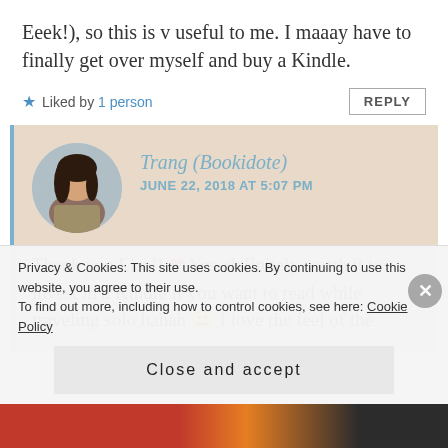Eeek!), so this is v useful to me. I maaay have to finally get over myself and buy a Kindle.
★ Liked by 1 person
Trang (Bookidote) — JUNE 22, 2018 AT 5:07 PM
Thank you Lisa!! ❤ Yes, definitely worth it to invest in a Kindle if you want to read while traveling solo hahah 😀 I love the feel of the
Privacy & Cookies: This site uses cookies. By continuing to use this website, you agree to their use. To find out more, including how to control cookies, see here: Cookie Policy
Close and accept